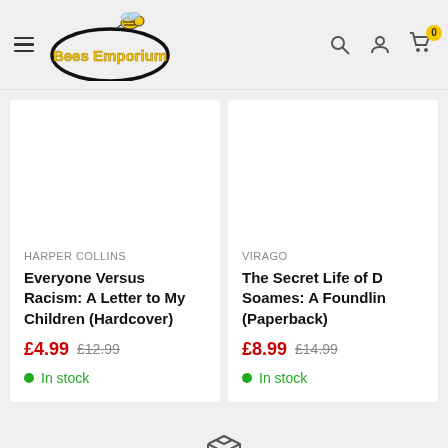[Figure (logo): Bees Emporium logo with bee illustration inside an oval, with hamburger menu icon, search icon, account icon, and cart icon with badge showing 0]
HARPER COLLINS
Everyone Versus Racism: A Letter to My Children (Hardcover)
£4.99  £12.99
In stock
VIRAGO
The Secret Life of D Soames: A Foundling (Paperback)
£8.99  £14.99
In stock
[Figure (illustration): Package/box icon at bottom center of page]